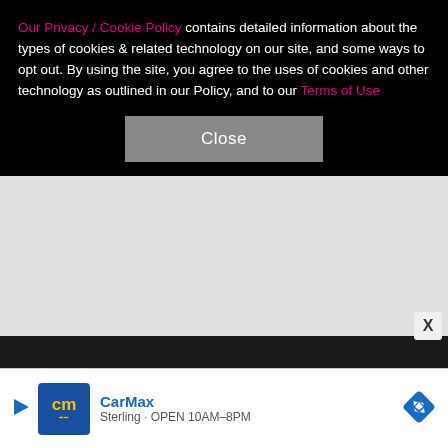Our Privacy / Cookie Policy contains detailed information about the types of cookies & related technology on our site, and some ways to opt out. By using the site, you agree to the uses of cookies and other technology as outlined in our Policy, and to our Terms of Use
Close
Faced at 18 with the serious decision of what to be called, she opted for Riley Stone. However, six months later, she re-evaluated her decision while guest starring on "Malcolm in the Middle" because when they called her Riley, she wouldn't respond. So she settled on Emma because her friends and family already called her "Em" and she knew the name would be familiar enough.
[Figure (other): Advertisement banner for CarMax showing logo, CarMax brand name, navigation icon, and location text 'Sterling OPEN 10AM-8PM']